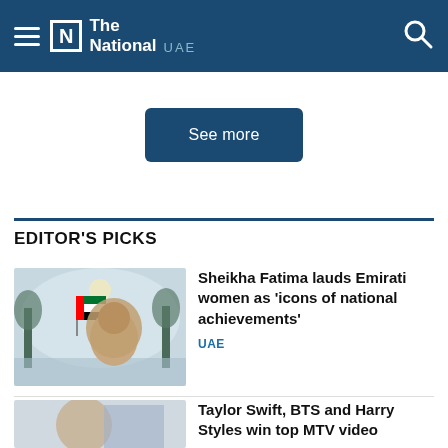The National UAE
See more
EDITOR'S PICKS
[Figure (illustration): Illustrated image of a woman in a hijab with her back turned, facing an UAE flag with trees and water in the background]
Sheikha Fatima lauds Emirati women as 'icons of national achievements'
UAE
[Figure (photo): Photo of a woman, partially visible, with a light blue background]
Taylor Swift, BTS and Harry Styles win top MTV video